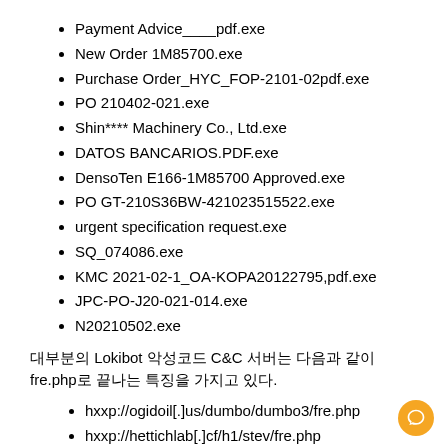Payment Advice____pdf.exe
New Order 1M85700.exe
Purchase Order_HYC_FOP-2101-02pdf.exe
PO 210402-021.exe
Shin**** Machinery Co., Ltd.exe
DATOS BANCARIOS.PDF.exe
DensoTen E166-1M85700 Approved.exe
PO GT-210S36BW-421023515522.exe
urgent specification request.exe
SQ_074086.exe
KMC 2021-02-1_OA-KOPA20122795,pdf.exe
JPC-PO-J20-021-014.exe
N20210502.exe
대부분의 Lokibot 악성코드 C&C 서버는 다음과 같이 fre.php로 끝나는 특징을 가지고 있다.
hxxp://ogidoil[.]us/dumbo/dumbo3/fre.php
hxxp://hettichlab[.]cf/h1/stev/fre.php
hxxp://becharnise[.]ir/fox/fre.php